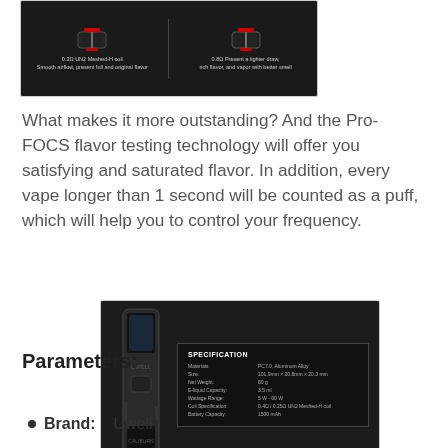[Figure (photo): Dark background product image showing two coil types side by side: 0.2ohm UN2 Meshed-H coil (Smooth airflow, present full and original flavor) and 0.8ohm LED Present a lighter draw, rich flavor, and vapor with better small]
What makes it more outstanding? And the Pro-FOCS flavor testing technology will offer you satisfying and saturated flavor. In addition, every vape longer than 1 second will be counted as a puff, which will help you to control your frequency.
[Figure (photo): Specification chart on dark background showing vape device with specs: Material: PC7.0, Aluminum Alloy; Size: 101.9mm x 20.8mm x 20.3mm; Net Weight: 80g; E-liquid Capacity: 3.5ml; Wattage Range: 5W - 60W; Coil Specification: 0.4ohm / 0.25ohm UN2 Meshed-H coil; Battery Capacity: 1500 mAh]
Parameters:
Brand:    Uwell